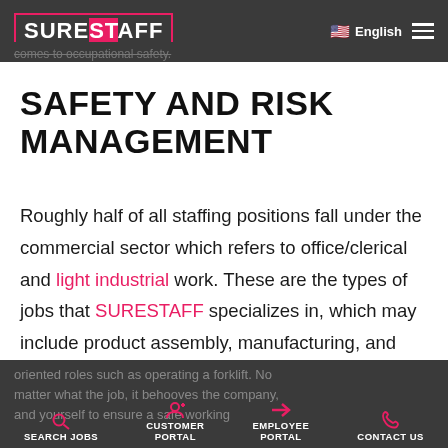SURESTAFF | English
SAFETY AND RISK MANAGEMENT
Roughly half of all staffing positions fall under the commercial sector which refers to office/clerical and light industrial work. These are the types of jobs that SURESTAFF specializes in, which may include product assembly, manufacturing, and machine-
oriented roles such as operating a forklift. No matter what the job, it behooves the company, and yourself to ensure a safe working | SEARCH JOBS | CUSTOMER PORTAL | EMPLOYEE PORTAL | CONTACT US